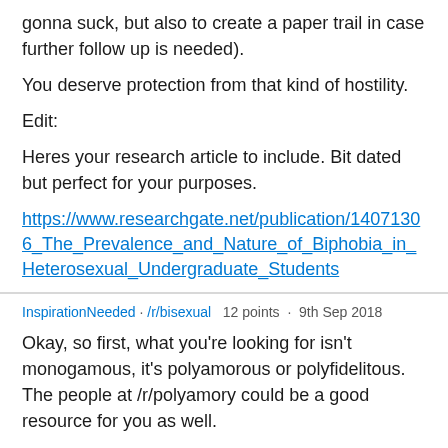gonna suck, but also to create a paper trail in case further follow up is needed).
You deserve protection from that kind of hostility.
Edit:
Heres your research article to include. Bit dated but perfect for your purposes.
https://www.researchgate.net/publication/14071306_The_Prevalence_and_Nature_of_Biphobia_in_Heterosexual_Undergraduate_Students
InspirationNeeded · /r/bisexual   12 points · 9th Sep 2018
Okay, so first, what you're looking for isn't monogamous, it's polyamorous or polyfidelitous. The people at /r/polyamory could be a good resource for you as well.